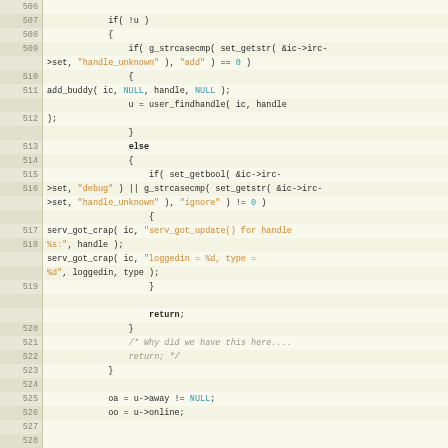[Figure (screenshot): Source code viewer showing lines 506-530 of C code with line numbers on the left and syntax highlighting. Code involves IRC connection handling with functions like g_strcasecmp, set_getstr, add_buddy, user_findhandle, set_getbool, serv_got_crap. String literals in orange, numeric literals in teal, bold keywords for 'return' and 'else'.]